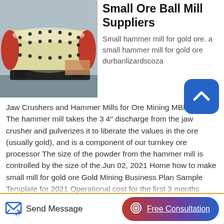[Figure (photo): Photo of a small ore ball mill — a large yellow cylindrical grinding mill with red end caps and black bolted flanges, mounted on a black frame, against an industrial background.]
Small Ore Ball Mill Suppliers
Small hammer mill for gold ore. a small hammer mill for gold ore durbanlizardscoza Jaw Crushers and Hammer Mills for Ore Mining MBMMLLC The hammer mill takes the 3 4″ discharge from the jaw crusher and pulverizes it to liberate the values in the ore (usually gold), and is a component of our turnkey ore processor The size of the powder from the hammer mill is controlled by the size of the.Jun 02, 2021 Home how to make small mill for gold ore Gold Mining Business Plan Sample Template for 2021 Operational cost for the first 3 months salaries of employees payments of bills et al 150 000 The cost for start up inventory gold and silver ore mining equipment trucks and other related gold and silver mining devices 250 000 The cost of launching a
Send Message
Free Consultation